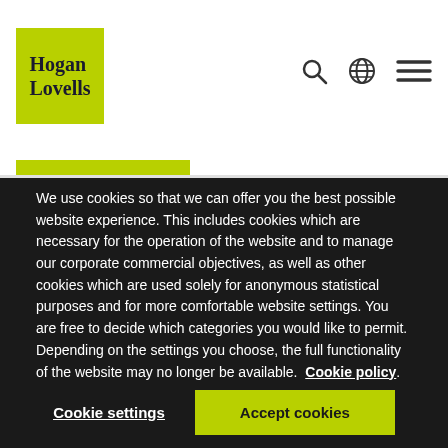[Figure (logo): Hogan Lovells logo — green square background with serif text 'Hogan Lovells' in dark navy]
[Figure (other): Navigation icons: search magnifying glass, globe/language selector, hamburger menu]
We use cookies so that we can offer you the best possible website experience. This includes cookies which are necessary for the operation of the website and to manage our corporate commercial objectives, as well as other cookies which are used solely for anonymous statistical purposes and for more comfortable website settings. You are free to decide which categories you would like to permit. Depending on the settings you choose, the full functionality of the website may no longer be available. Cookie policy
Cookie settings
Accept cookies